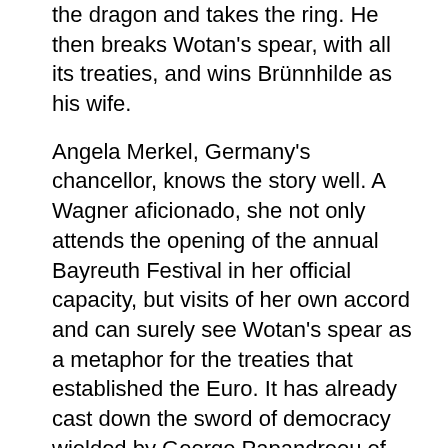the dragon and takes the ring. He then breaks Wotan's spear, with all its treaties, and wins Brünnhilde as his wife.
Angela Merkel, Germany's chancellor, knows the story well. A Wagner aficionado, she not only attends the opening of the annual Bayreuth Festival in her official capacity, but visits of her own accord and can surely see Wotan's spear as a metaphor for the treaties that established the Euro. It has already cast down the sword of democracy wielded by George Papandreou of Greece. But what if someone mightier wields the sword? Merkel, as a good European, is aware of the problem and has her solution: strengthen the spear, strengthen the treaties.
This might work; then again it might not. Look at the Ring. Like modern Germany, the hero Siegfried is the son of a brother and sister and, if the Germans themselves raise the sword of democracy against the Euro treaties, what then?
After Siegfried has killed the dragon, taken the ring and broken the spear, Wotan resigns